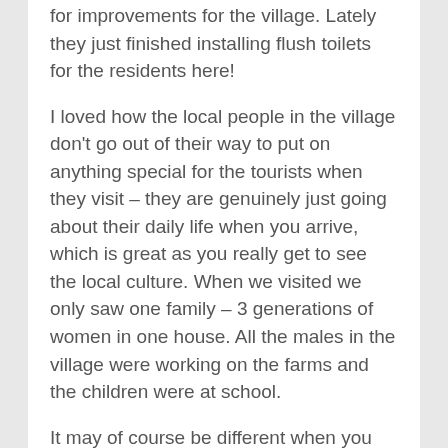for improvements for the village. Lately they just finished installing flush toilets for the residents here!
I loved how the local people in the village don't go out of their way to put on anything special for the tourists when they visit – they are genuinely just going about their daily life when you arrive, which is great as you really get to see the local culture. When we visited we only saw one family – 3 generations of women in one house. All the males in the village were working on the farms and the children were at school.
It may of course be different when you visit – especially if you visit when the children aren't at school! Perhaps you'll see locals